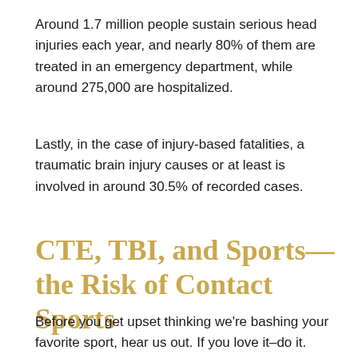Around 1.7 million people sustain serious head injuries each year, and nearly 80% of them are treated in an emergency department, while around 275,000 are hospitalized.
Lastly, in the case of injury-based fatalities, a traumatic brain injury causes or at least is involved in around 30.5% of recorded cases.
CTE, TBI, and Sports—the Risk of Contact Sports
Before you get upset thinking we're bashing your favorite sport, hear us out. If you love it–do it.